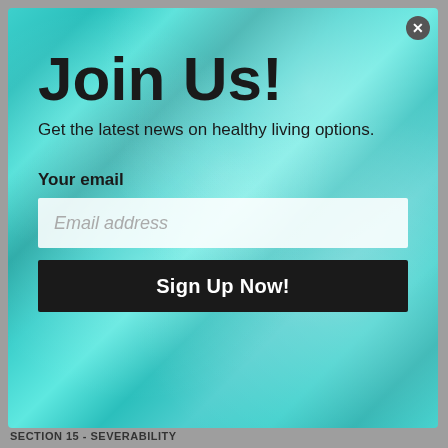[Figure (screenshot): Email signup modal popup with teal water background. Contains 'Join Us!' heading, subtitle text, email input field, and Sign Up Now button. A close (X) button appears in top-right corner.]
Join Us!
Get the latest news on healthy living options.
Your email
Email address
Sign Up Now!
SECTION 15 - SEVERABILITY